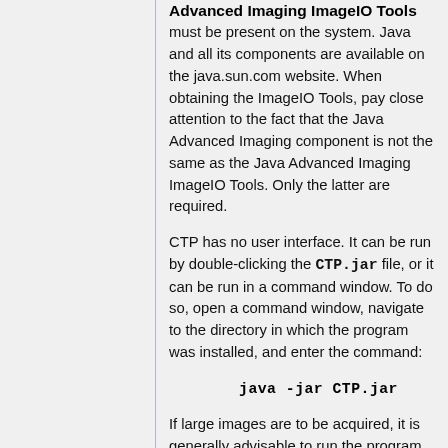Advanced Imaging ImageIO Tools
must be present on the system. Java and all its components are available on the java.sun.com website. When obtaining the ImageIO Tools, pay close attention to the fact that the Java Advanced Imaging component is not the same as the Java Advanced Imaging ImageIO Tools. Only the latter are required.
CTP has no user interface. It can be run by double-clicking the CTP.jar file, or it can be run in a command window. To do so, open a command window, navigate to the directory in which the program was installed, and enter the command:
java -jar CTP.jar
If large images are to be acquired, it is generally advisable to run the program with the command: When